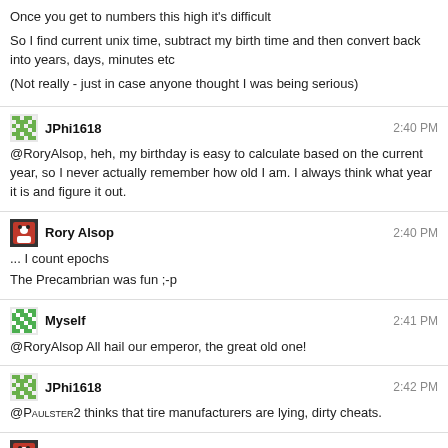Once you get to numbers this high it's difficult
So I find current unix time, subtract my birth time and then convert back into years, days, minutes etc
(Not really - just in case anyone thought I was being serious)
JPhi1618 2:40 PM
@RoryAlsop, heh, my birthday is easy to calculate based on the current year, so I never actually remember how old I am. I always think what year it is and figure it out.
Rory Alsop 2:40 PM
... I count epochs
The Precambrian was fun ;-p
Myself 2:41 PM
@RoryAlsop All hail our emperor, the great old one!
JPhi1618 2:42 PM
@Paulster2 thinks that tire manufacturers are lying, dirty cheats.
Rory Alsop 2:42 PM
Nah - that's Cthulhu @Myself
@JPhi1618 I quite like Bridgestone. They keep my car on the road rather well
Myself 2:42 PM
@RoryAlsop Surely you got to know him :)
Rory Alsop 2:42 PM